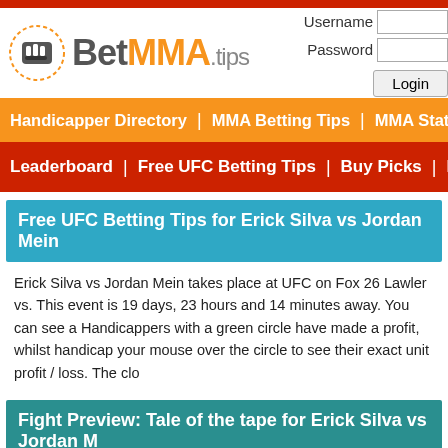[Figure (logo): BetMMA.tips logo with fist icon]
Username
Password
Login
Handicapper Directory | MMA Betting Tips | MMA Stats | Betting
Leaderboard | Free UFC Betting Tips | Buy Picks | Past MMA
Free UFC Betting Tips for Erick Silva vs Jordan Mein
Erick Silva vs Jordan Mein takes place at UFC on Fox 26 Lawler vs. This event is 19 days, 23 hours and 14 minutes away. You can see a Handicappers with a green circle have made a profit, whilst handicap your mouse over the circle to see their exact unit profit / loss. The clo
Fight Preview: Tale of the tape for Erick Silva vs Jordan M